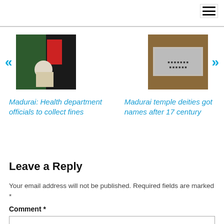[Figure (photo): Left navigation thumbnail: photo of a person near a door with green background]
[Figure (photo): Right navigation thumbnail: photo of text or tiles on a wall]
Madurai: Health department officials to collect fines
Madurai temple deities got names after 17 century
Leave a Reply
Your email address will not be published. Required fields are marked *
Comment *